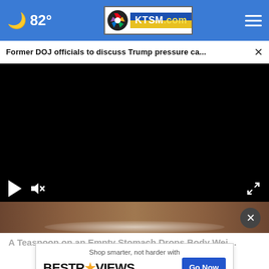82° KTSM.com
Former DOJ officials to discuss Trump pressure ca... ×
[Figure (screenshot): Black video player area with play and mute controls at bottom left and fullscreen icon at bottom right]
[Figure (photo): Thumbnail of food image with brown/wood surface and powder, partially visible]
A Teaspoon on an Empty Stomach Drops Body Wei…
Shop smarter, not harder with BESTREVIEWS Go Now
Trending New Finds